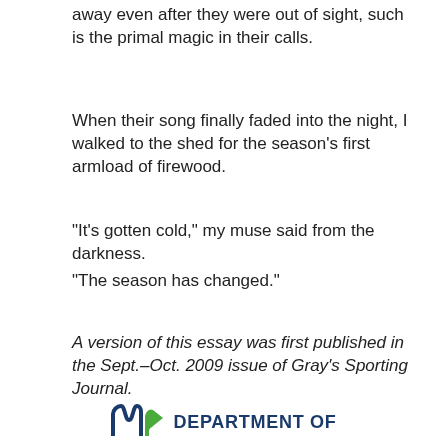away even after they were out of sight, such is the primal magic in their calls.
When their song finally faded into the night, I walked to the shed for the season's first armload of firewood.
"It's gotten cold," my muse said from the darkness.
"The season has changed."
A version of this essay was first published in the Sept.–Oct. 2009 issue of Gray's Sporting Journal.
DEPARTMENT OF